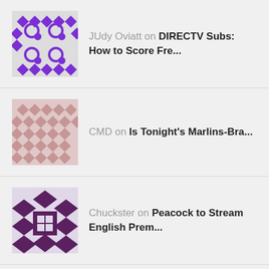JUdy Oviatt on DIRECTV Subs: How to Score Fre...
CMD on Is Tonight's Marlins-Bra...
Chuckster on Peacock to Stream English Prem...
SEARCH FOR PAST ARTICLES.
Search